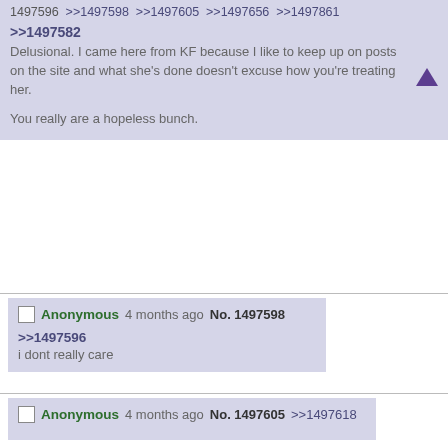1497596 >>1497598 >>1497605 >>1497656 >>1497861
>>1497582
Delusional. I came here from KF because I like to keep up on posts on the site and what she's done doesn't excuse how you're treating her.

You really are a hopeless bunch.
Anonymous 4 months ago No. 1497598
>>1497596
i dont really care
Anonymous 4 months ago No. 1497605 >>1497618
>>1497596
>>1497573
>>1497533
Whatever you say Bertha.
Anonymous 4 months ago No. 1497615
File (hide): 1649573732860.jpg (185.16 KB, 1440x987, Screenshot_20220410-075219_Twi...)
Dr. Unfortunately, made comp... @TayuuBarbie
Replying to @ChibiSepphy @AlphaAndFiraga and @renohasbigtits
She doesn't seem to realise that